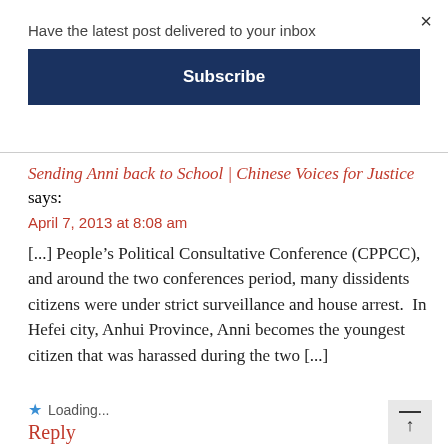×
Have the latest post delivered to your inbox
Subscribe
Sending Anni back to School | Chinese Voices for Justice says:
April 7, 2013 at 8:08 am
[...] People's Political Consultative Conference (CPPCC), and around the two conferences period, many dissidents citizens were under strict surveillance and house arrest.  In Hefei city, Anhui Province, Anni becomes the youngest citizen that was harassed during the two [...]
★  Loading...
Reply